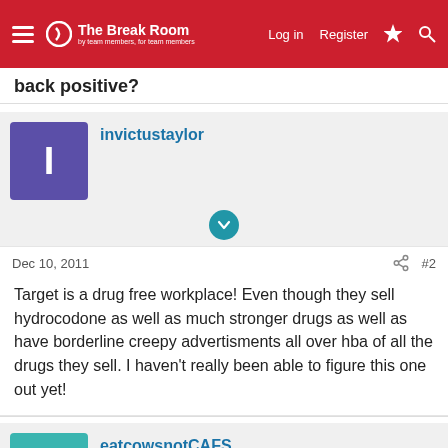The Break Room — Log in  Register
back positive?
invictustaylor
Dec 10, 2011  #2
Target is a drug free workplace! Even though they sell hydrocodone as well as much stronger drugs as well as have borderline creepy advertisments all over hba of all the drugs they sell. I haven't really been able to figure this one out yet!
eatcowsnotCAFS
Dec 10, 2011  #3